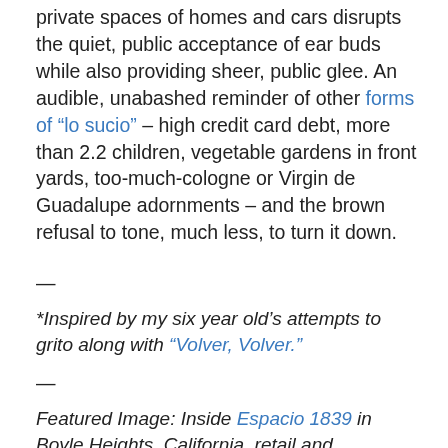private spaces of homes and cars disrupts the quiet, public acceptance of ear buds while also providing sheer, public glee. An audible, unabashed reminder of other forms of “lo sucio” – high credit card debt, more than 2.2 children, vegetable gardens in front yards, too-much-cologne or Virgin de Guadalupe adornments – and the brown refusal to tone, much less, to turn it down.
—
*Inspired by my six year old’s attempts to grito along with “Volver, Volver.”
—
Featured Image: Inside Espacio 1839 in Boyle Heights, California, retail and performance space and home of RADIO SOMBRA, a 24/7 community-based Internet radio